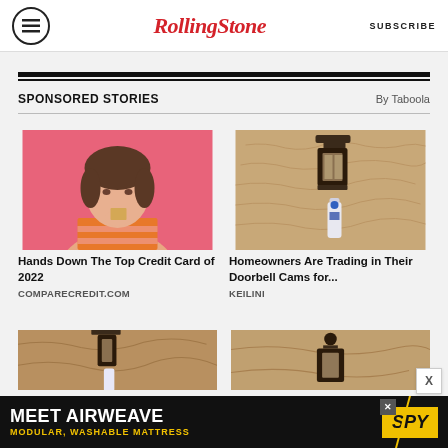RollingStone — SUBSCRIBE
SPONSORED STORIES — By Taboola
[Figure (photo): Young woman with brown hair against pink background, holding a card to her lip]
Hands Down The Top Credit Card of 2022
COMPARECREDIT.COM
[Figure (photo): Outdoor wall lantern light fixture with a bottle of cleaning product below it on textured stucco wall]
Homeowners Are Trading in Their Doorbell Cams for...
KEILINI
[Figure (photo): Outdoor wall lantern fixture partially visible at bottom of page]
[Figure (photo): Outdoor lamp fixture partially visible at bottom of page]
[Figure (infographic): Advertisement banner: MEET AIRWEAVE — MODULAR, WASHABLE MATTRESS — SPY logo]